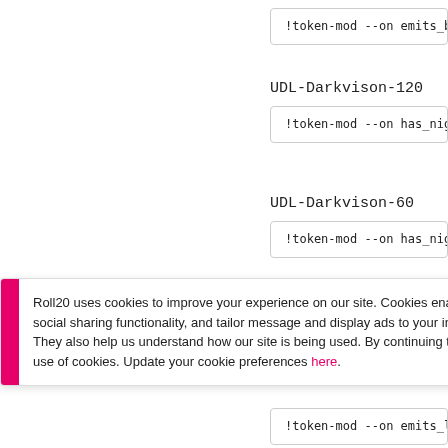!token-mod --on emits_bright_light has_di
UDL-Darkvison-120
!token-mod --on has_night_vision --set ni
UDL-Darkvison-60
!token-mod --on has_night_vision !token-me
Roll20 uses cookies to improve your experience on our site. Cookies enable you to enjoy certain features, social sharing functionality, and tailor message and display ads to your interests on our site and others. They also help us understand how our site is being used. By continuing to use our site, you consent to our use of cookies. Update your cookie preferences here.
!token-mod --on emits_low_light --off emi